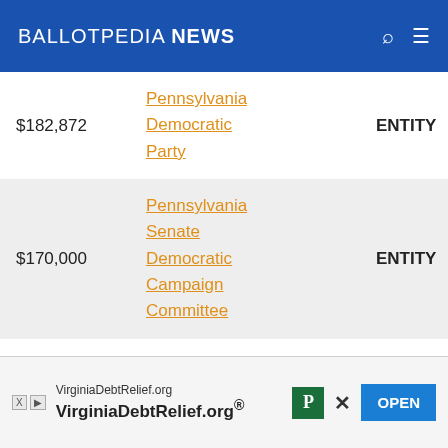BALLOTPEDIA NEWS
| Amount | Entity Name | Type |
| --- | --- | --- |
| $182,872 | Pennsylvania Democratic Party | ENTITY |
| $170,000 | Pennsylvania Senate Democratic Campaign Committee | ENTITY |
| $47,400 | American State Council | ENTITY |